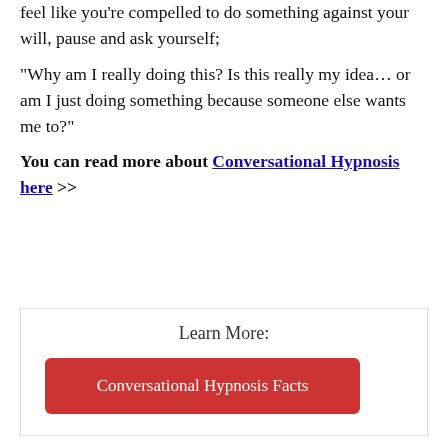feel like you're compelled to do something against your will, pause and ask yourself;
“Why am I really doing this? Is this really my idea… or am I just doing something because someone else wants me to?”
You can read more about Conversational Hypnosis here >>
Learn More:
Conversational Hypnosis Facts